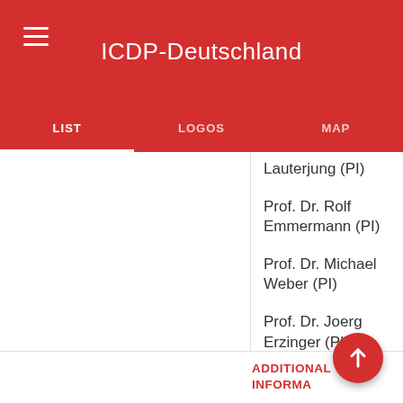ICDP-Deutschland
LIST | LOGOS | MAP
Lauterjung (PI)
Prof. Dr. Rolf Emmermann (PI)
Prof. Dr. Michael Weber (PI)
Prof. Dr. Joerg Erzinger (PI)
ADDITIONAL INFORMA...